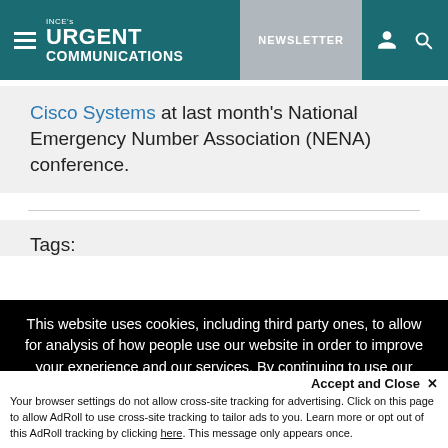INCE's URGENT COMMUNICATIONS | NEWSLETTER
Cisco Systems at last month's National Emergency Number Association (NENA) conference.
Tags:
This website uses cookies, including third party ones, to allow for analysis of how people use our website in order to improve your experience and our services. By continuing to use our website, you agree to the use of such cookies. Click here for more information on our Cookie Policy and Privacy Policy
Accept and Close ✕
Your browser settings do not allow cross-site tracking for advertising. Click on this page to allow AdRoll to use cross-site tracking to tailor ads to you. Learn more or opt out of this AdRoll tracking by clicking here. This message only appears once.